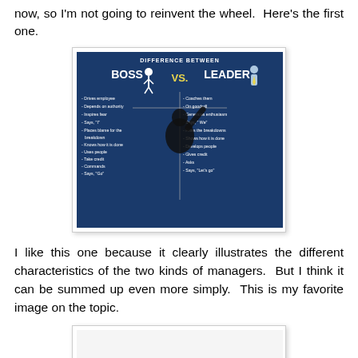now, so I'm not going to reinvent the wheel.  Here's the first one.
[Figure (infographic): Infographic showing 'Difference Between Boss vs. Leader' with a silhouette of a person writing on a board. Left side lists Boss traits: Drives employee, Depends on authority, Inspires fear, Says 'I', Places blame for the breakdown, Knows how it is done, Uses people, Take credit, Commands, Says 'Go'. Right side lists Leader traits: Coaches them, On goodwill, Generates enthusiasm, Says 'We', Fixes the breakdowns, Shows how it is done, Develops people, Gives credit, Asks, Says 'Let's go'.]
I like this one because it clearly illustrates the different characteristics of the two kinds of managers.  But I think it can be summed up even more simply.  This is my favorite image on the topic.
[Figure (illustration): Partially visible image frame at bottom of page, content not visible.]